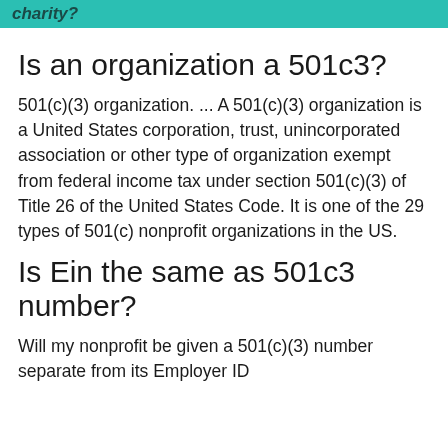charity?
Is an organization a 501c3?
501(c)(3) organization. ... A 501(c)(3) organization is a United States corporation, trust, unincorporated association or other type of organization exempt from federal income tax under section 501(c)(3) of Title 26 of the United States Code. It is one of the 29 types of 501(c) nonprofit organizations in the US.
Is Ein the same as 501c3 number?
Will my nonprofit be given a 501(c)(3) number separate from its Employer ID